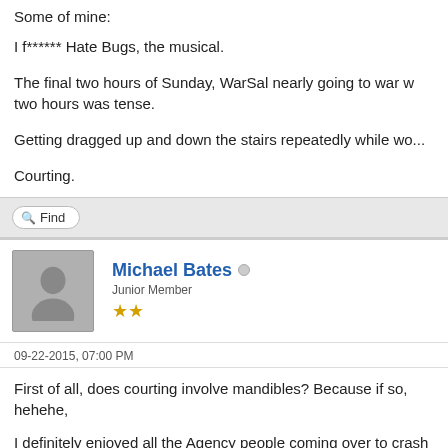Some of mine:
I f****** Hate Bugs, the musical.
The final two hours of Sunday, WarSal nearly going to war w... two hours was tense.
Getting dragged up and down the stairs repeatedly while wo...
Courting.
Find
Michael Bates
Junior Member
09-22-2015, 07:00 PM
First of all, does courting involve mandibles? Because if so, hehehe,
I definitely enjoyed all the Agency people coming over to crash with W... bunch of gear-heads were talking about poop buddies and watching